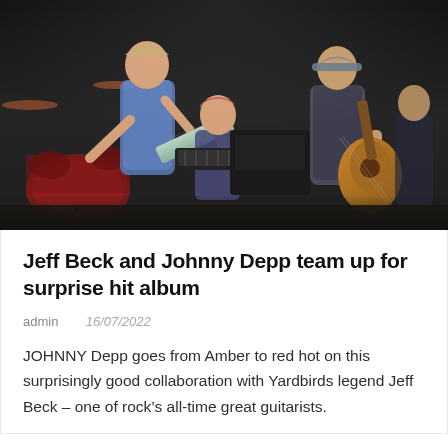[Figure (photo): Concert photo showing musicians on stage. On the left, a guitarist wearing a denim vest plays a light-colored electric guitar. In the center background, a keyboard player with red-tipped hair sits at a keyboard. On the right, a man in a cap and vest plays an acoustic guitar. A drum kit with TAMA branding is visible on the left. Dark stage backdrop with rigging visible at top.]
Jeff Beck and Johnny Depp team up for surprise hit album
admin  16/07/2022
JOHNNY Depp goes from Amber to red hot on this surprisingly good collaboration with Yardbirds legend Jeff Beck – one of rock's all-time great guitarists.